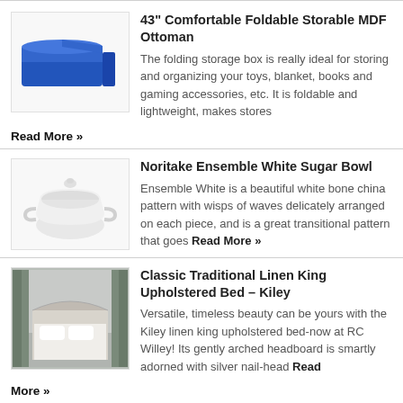[Figure (illustration): Blue rectangular folding storage ottoman/box]
43" Comfortable Foldable Storable MDF Ottoman
The folding storage box is really ideal for storing and organizing your toys, blanket, books and gaming accessories, etc. It is foldable and lightweight, makes stores
Read More »
[Figure (photo): White Noritake sugar bowl with lid]
Noritake Ensemble White Sugar Bowl
Ensemble White is a beautiful white bone china pattern with wisps of waves delicately arranged on each piece, and is a great transitional pattern that goes Read More »
[Figure (photo): Classic traditional linen king upholstered bed with arched headboard]
Classic Traditional Linen King Upholstered Bed – Kiley
Versatile, timeless beauty can be yours with the Kiley linen king upholstered bed-now at RC Willey! Its gently arched headboard is smartly adorned with silver nail-head Read More »
[Figure (photo): 6-Person Patio Wood Picnic Table Beer Bench Set - partially visible]
6-Person Patio Wood Picnic Table Beer Bench Set